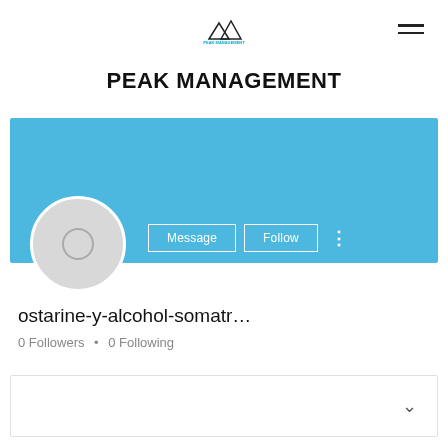[Figure (logo): Peak Management logo with mountain icon and teal text]
PEAK MANAGEMENT
[Figure (screenshot): Social media profile page for user ostarine-y-alcohol-somatr... with blue banner header, profile avatar circle, Message and Follow buttons, 0 Followers and 0 Following, and a collapsed content box with chevron]